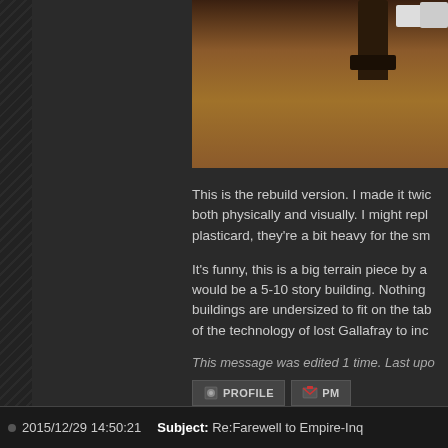[Figure (photo): Partial view of a miniature terrain piece or model gun/weapon on a wooden surface, top portion of image visible]
This is the rebuild version. I made it twice as wide, both physically and visually. I might replace the plasticard, they're a bit heavy for the sm...
It's funny, this is a big terrain piece by a... would be a 5-10 story building. Nothing buildings are undersized to fit on the tab... of the technology of lost Gallafray to inc...
This message was edited 1 time. Last upo...
2015/12/29 14:50:21   Subject: Re:Farewell to Empire-Inq...